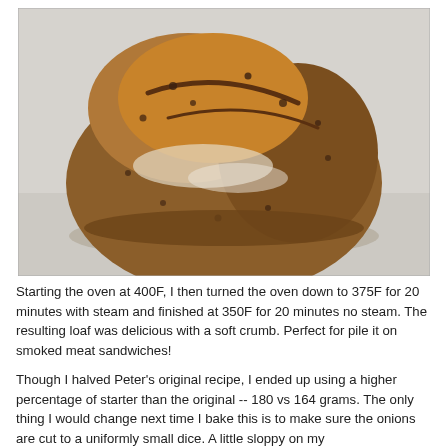[Figure (photo): A round rustic sourdough loaf with a dark golden-brown crust, scored top, dusted with flour, sitting on a light surface. The bread appears to contain mix-ins such as caramelized onions or raisins visible in the crust.]
Starting the oven at 400F, I then turned the oven down to 375F for 20 minutes with steam and finished at 350F for 20 minutes no steam. The resulting loaf was delicious with a soft crumb. Perfect for pile it on smoked meat sandwiches!
Though I halved Peter's original recipe, I ended up using a higher percentage of starter than the original -- 180 vs 164 grams. The only thing I would change next time I bake this is to make sure the onions are cut to a uniformly small dice. A little sloppy on my